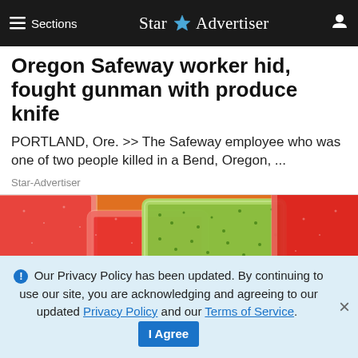≡ Sections  Star Advertiser
Oregon Safeway worker hid, fought gunman with produce knife
PORTLAND, Ore. >> The Safeway employee who was one of two people killed in a Bend, Oregon, ...
Star-Advertiser
[Figure (photo): Close-up photo of colorful sugared gummy candy squares in red, orange, yellow, and green colors covered in sugar crystals]
ℹ Our Privacy Policy has been updated. By continuing to use our site, you are acknowledging and agreeing to our updated Privacy Policy and our Terms of Service. I Agree